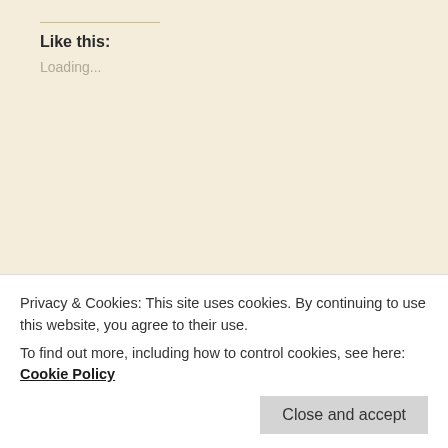Like this:
Loading...
Related
OCD and Self-Diagnosis
September 29, 2014
In "anxiety"
Tie a Knot
September 1, 2014
In "anxiety"
Privacy & Cookies: This site uses cookies. By continuing to use this website, you agree to their use.
To find out more, including how to control cookies, see here: Cookie Policy
Close and accept
anxiety  bipolar  health  life  me  ocd  sanity  ★ permalink